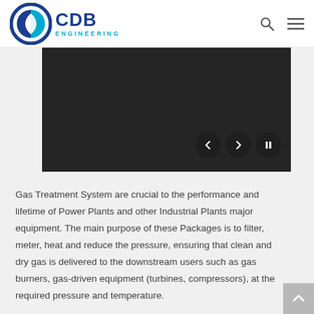[Figure (logo): CDB Engineering logo with circular icon in blue and teal, with text CDB in dark blue and ENGINEERING in teal]
[Figure (photo): Dark/black image slider panel with navigation controls (previous, next, pause buttons) in the lower right]
Gas Treatment System are crucial to the performance and lifetime of Power Plants and other Industrial Plants major equipment. The main purpose of these Packages is to filter, meter, heat and reduce the pressure, ensuring that clean and dry gas is delivered to the downstream users such as gas burners, gas-driven equipment (turbines, compressors), at the required pressure and temperature.
The type of packages for Gas Treatment offered by